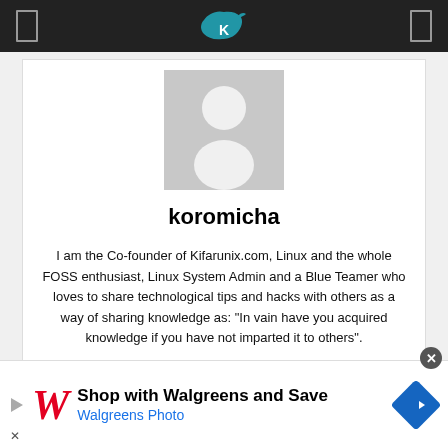Kifarunix / koromicha profile page header with logo
[Figure (illustration): Default user avatar placeholder - grey silhouette of a person on grey background]
koromicha
I am the Co-founder of Kifarunix.com, Linux and the whole FOSS enthusiast, Linux System Admin and a Blue Teamer who loves to share technological tips and hacks with others as a way of sharing knowledge as: "In vain have you acquired knowledge if you have not imparted it to others".
[Figure (screenshot): Walgreens advertisement banner - Shop with Walgreens and Save, Walgreens Photo]